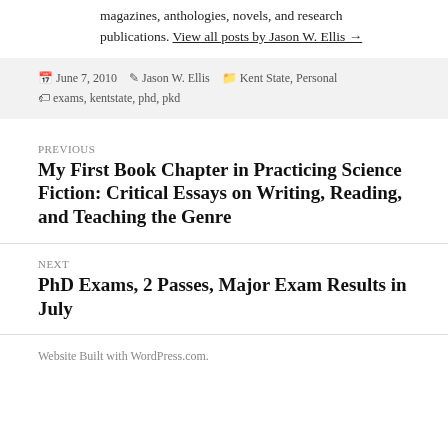magazines, anthologies, novels, and research publications. View all posts by Jason W. Ellis →
June 7, 2010  Jason W. Ellis  Kent State, Personal  exams, kentstate, phd, pkd
PREVIOUS
My First Book Chapter in Practicing Science Fiction: Critical Essays on Writing, Reading, and Teaching the Genre
NEXT
PhD Exams, 2 Passes, Major Exam Results in July
Website Built with WordPress.com.